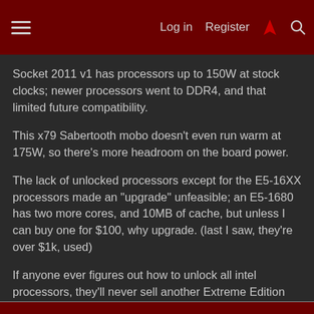Log in  Register
Socket 2011 v1 has processors up to 150W at stock clocks; newer processors went to DDR4, and that limited future compatibility.
This x79 Sabertooth mobo doesn't even run warm at 175W, so there's more headroom on the board power.
The lack of unlocked processors except for the E5-16XX processors made an "upgrade" unfeasible; an E5-1680 has two more cores, and 10MB of cache, but unless I can buy one for $100, why upgrade. (last I saw, they're over $1k, used)
If anyone ever figures out how to unlock all intel processors, they'll never sell another Extreme Edition again; The ones I bought for a work computer wouldn't reach the overclock I'm running now, lol.